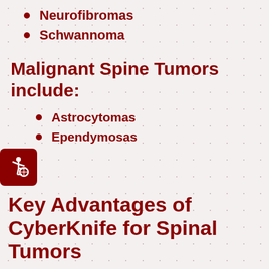Neurofibromas
Schwannoma
Malignant Spine Tumors include:
Astrocytomas
Ependymosas
[Figure (illustration): Wheelchair accessibility icon in red square]
Key Advantages of CyberKnife for Spinal Tumors
Non-invasive, no incisions, painless
No anesthesia or hospitalization required
Treats patients in 5 or fewer visits
Reaches tumors from virtually unlimited directions with robotic mobility